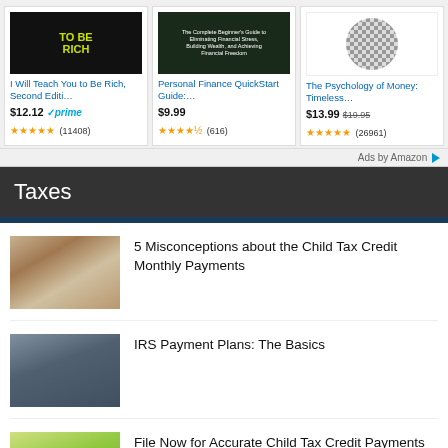[Figure (other): Amazon book ad: I Will Teach You to Be Rich, Second Edition with price $12.12, Prime badge, 4.5 stars, (11408) reviews]
[Figure (other): Amazon book ad: Personal Finance QuickStart Guide with price $9.99, 4.5 stars, (616) reviews]
[Figure (other): Amazon book ad: The Psychology of Money: Timeless with price $13.99 ($19.95 strikethrough), 4.5 stars, (26961) reviews]
Ads by Amazon
Taxes
[Figure (photo): Photo of a family - mother and child looking at phone]
5 Misconceptions about the Child Tax Credit Monthly Payments
[Figure (photo): Photo of a man working on a laptop]
IRS Payment Plans: The Basics
[Figure (photo): Photo of a parent and child outdoors in sunny field]
File Now for Accurate Child Tax Credit Payments